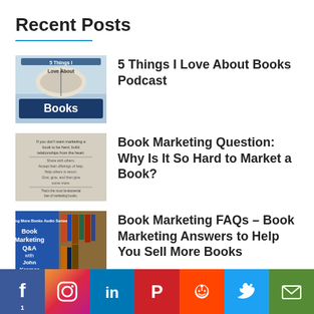Recent Posts
5 Things I Love About Books Podcast
Book Marketing Question: Why Is It So Hard to Market a Book?
Book Marketing FAQs – Book Marketing Answers to Help You Sell More Books
Book Marketing Question: Am I